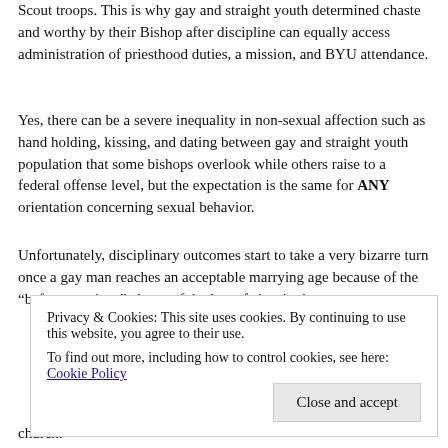Scout troops. This is why gay and straight youth determined chaste and worthy by their Bishop after discipline can equally access administration of priesthood duties, a mission, and BYU attendance.
Yes, there can be a severe inequality in non-sexual affection such as hand holding, kissing, and dating between gay and straight youth population that some bishops overlook while others raise to a federal offense level, but the expectation is the same for ANY orientation concerning sexual behavior.
Unfortunately, disciplinary outcomes start to take a very bizarre turn once a gay man reaches an acceptable marrying age because of the "before marriage" clause of the law of chastity is
church.
Privacy & Cookies: This site uses cookies. By continuing to use this website, you agree to their use.
To find out more, including how to control cookies, see here: Cookie Policy